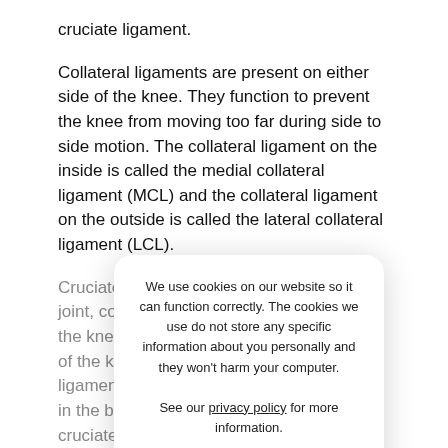cruciate ligament.
Collateral ligaments are present on either side of the knee. They function to prevent the knee from moving too far during side to side motion. The collateral ligament on the inside is called the medial collateral ligament (MCL) and the collateral ligament on the outside is called the lateral collateral ligament (LCL).
Cruciate ligaments, present inside the knee joint, control the back and forth motion of the knee. The cruciate ligament in the front of the knee is called anterior cruciate ligament or ACL and the cruciate ligament in the back of the knee is called posterior cruciate ligament or PCL.
Muscles of the Knee
We use cookies on our website so it can function correctly. The cookies we use do not store any specific information about you personally and they won't harm your computer.

See our privacy policy for more information.
Accept